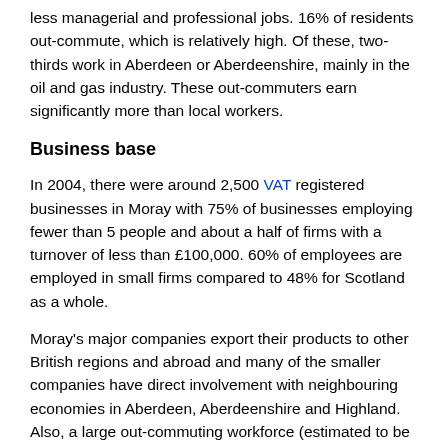less managerial and professional jobs. 16% of residents out-commute, which is relatively high. Of these, two-thirds work in Aberdeen or Aberdeenshire, mainly in the oil and gas industry. These out-commuters earn significantly more than local workers.
Business base
In 2004, there were around 2,500 VAT registered businesses in Moray with 75% of businesses employing fewer than 5 people and about a half of firms with a turnover of less than £100,000. 60% of employees are employed in small firms compared to 48% for Scotland as a whole.
Moray's major companies export their products to other British regions and abroad and many of the smaller companies have direct involvement with neighbouring economies in Aberdeen, Aberdeenshire and Highland. Also, a large out-commuting workforce (estimated to be in excess of 5,000 people) derives its income from the neighbouring centres of Aberdeen and Inverness.
VAT registered enterpises in Moray in 2004